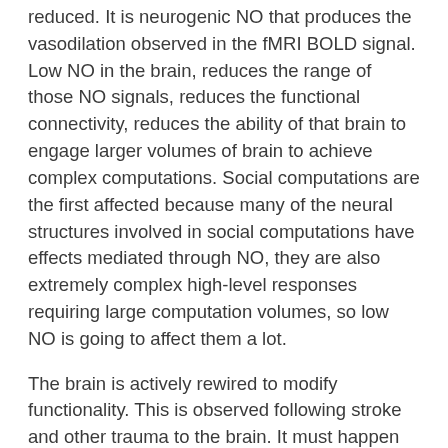reduced. It is neurogenic NO that produces the vasodilation observed in the fMRI BOLD signal. Low NO in the brain, reduces the range of those NO signals, reduces the functional connectivity, reduces the ability of that brain to engage larger volumes of brain to achieve complex computations. Social computations are the first affected because many of the neural structures involved in social computations have effects mediated through NO, they are also extremely complex high-level responses requiring large computation volumes, so low NO is going to affect them a lot.
The brain is actively rewired to modify functionality. This is observed following stroke and other trauma to the brain. It must happen during development and learning. This remodeling occurs over the entire life span. The many details of how that wiring and rewiring occurs over the lifespan are virtually all unknown. If the brain is able to accomplish a computational task, it must have the neural structures to accomplish that task. Once the task is accomplished, those neural structures may not be needed any more. An example I give later is the ability of children to learn or synthesize new